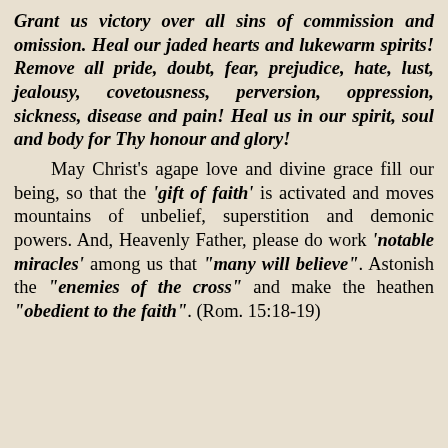Grant us victory over all sins of commission and omission. Heal our jaded hearts and lukewarm spirits! Remove all pride, doubt, fear, prejudice, hate, lust, jealousy, covetousness, perversion, oppression, sickness, disease and pain! Heal us in our spirit, soul and body for Thy honour and glory!
May Christ's agape love and divine grace fill our being, so that the 'gift of faith' is activated and moves mountains of unbelief, superstition and demonic powers. And, Heavenly Father, please do work 'notable miracles' among us that "many will believe". Astonish the "enemies of the cross" and make the heathen "obedient to the faith". (Rom. 15:18-19)